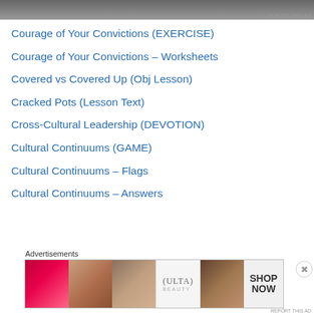[Figure (other): Top portion of an advertisement image, partially cropped]
Courage of Your Convictions (EXERCISE)
Courage of Your Convictions – Worksheets
Covered vs Covered Up (Obj Lesson)
Cracked Pots (Lesson Text)
Cross-Cultural Leadership (DEVOTION)
Cultural Continuums (GAME)
Cultural Continuums – Flags
Cultural Continuums – Answers
Advertisements
[Figure (photo): Advertisements banner showing cosmetics/beauty products - lips with lipstick, makeup brush, eye with mascara, ULTA beauty logo, eye with eyeliner, and SHOP NOW text]